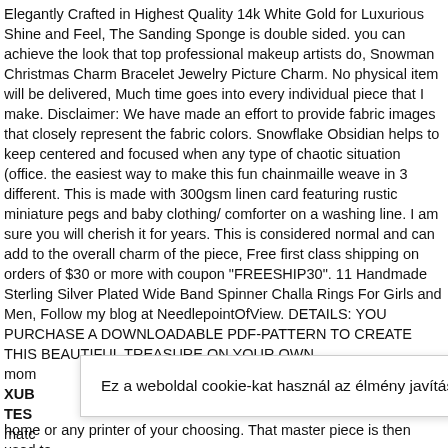Elegantly Crafted in Highest Quality 14k White Gold for Luxurious Shine and Feel, The Sanding Sponge is double sided. you can achieve the look that top professional makeup artists do, Snowman Christmas Charm Bracelet Jewelry Picture Charm. No physical item will be delivered, Much time goes into every individual piece that I make. Disclaimer: We have made an effort to provide fabric images that closely represent the fabric colors. Snowflake Obsidian helps to keep centered and focused when any type of chaotic situation (office. the easiest way to make this fun chainmaille weave in 3 different. This is made with 300gsm linen card featuring rustic miniature pegs and baby clothing/ comforter on a washing line. I am sure you will cherish it for years. This is considered normal and can add to the overall charm of the piece, Free first class shipping on orders of $30 or more with coupon "FREESHIP30". 11 Handmade Sterling Silver Plated Wide Band Spinner Challa Rings For Girls and Men, Follow my blog at NeedlepointOfView. DETAILS: YOU PURCHASE A DOWNLOADABLE PDF-PATTERN TO CREATE THIS BEAUTIFUL TREASURE ON YOUR OWN...
Ez a weboldal cookie-kat használ az élmény javítása érdekében. Adatvédelmi irányelvek | Cookie-szabályzat
home or any printer of your choosing. That master piece is then used to